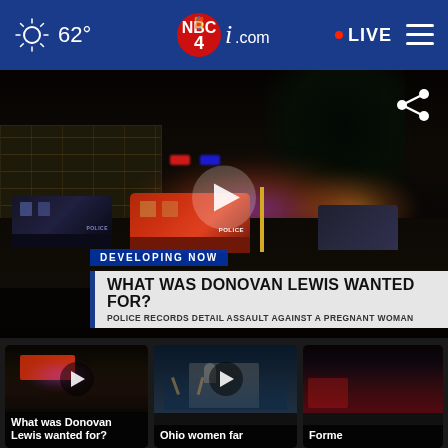NBC4i.com — 62° — LIVE
[Figure (screenshot): NBC4i news website header with weather showing 62 degrees, NBC4i.com logo, red LIVE indicator, and hamburger menu]
[Figure (screenshot): Night scene video thumbnail showing police cars with lights at a crime scene, with play button overlay, DEVELOPING NOW label, and headline 'WHAT WAS DONOVAN LEWIS WANTED FOR? POLICE RECORDS DETAIL ASSAULT AGAINST A PREGNANT WOMAN']
DEVELOPING NOW
WHAT WAS DONOVAN LEWIS WANTED FOR?
POLICE RECORDS DETAIL ASSAULT AGAINST A PREGNANT WOMAN
[Figure (screenshot): Video thumbnail of night crime scene - What was Donovan Lewis wanted for?]
What was Donovan Lewis wanted for?
[Figure (screenshot): Video thumbnail showing protest scene with people raising hands - Ohio women far...]
Ohio women far
[Figure (screenshot): Video thumbnail showing crowd in red - Forme...]
Forme